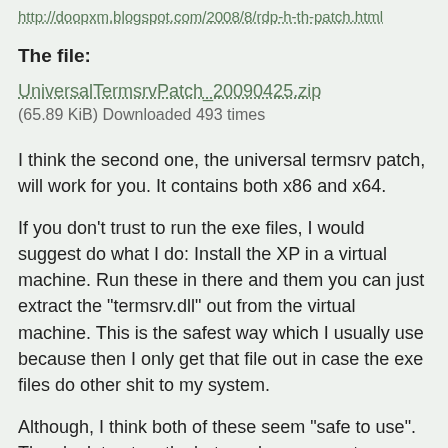http://doopxm.blogspot.com/2008/8/rdp-h-th-patch.html
The file:
UniversalTermsrvPatch_20090425.zip
(65.89 KiB) Downloaded 493 times
I think the second one, the universal termsrv patch, will work for you. It contains both x86 and x64.
If you don't trust to run the exe files, I would suggest do what I do: Install the XP in a virtual machine. Run these in there and them you can just extract the "termsrv.dll" out from the virtual machine. This is the safest way which I usually use because then I only get that file out in case the exe files do other shit to my system.
Although, I think both of these seem "safe to use". They look trustworthy but you know, use at your own risk. 😀
I'm actually really curious if one of these will work or not because. I think I still have my Windows 7 patch somewhere.